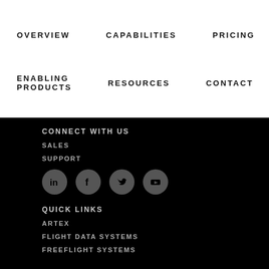OVERVIEW   CAPABILITIES   PRICING
ENABLING PRODUCTS   RESOURCES   CONTACT
CONNECT WITH US
SALES
SUPPORT
[Figure (other): Social media icons: LinkedIn, Facebook, Twitter, YouTube]
QUICK LINKS
ARTEX
FLIGHT DATA SYSTEMS
FREEFLIGHT SYSTEMS